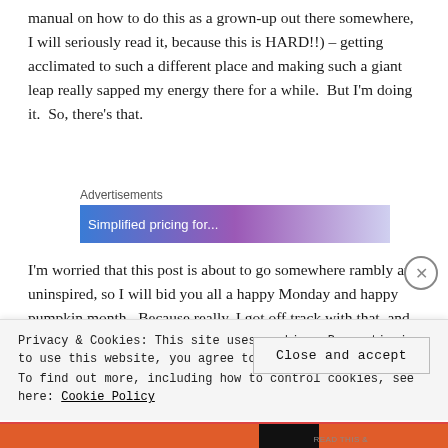manual on how to do this as a grown-up out there somewhere, I will seriously read it, because this is HARD!!) – getting acclimated to such a different place and making such a giant leap really sapped my energy there for a while.  But I'm doing it.  So, there's that.
[Figure (other): Advertisements banner with blue-to-purple gradient background and partial white text reading 'Simplified pricing for...']
I'm worried that this post is about to go somewhere rambly and uninspired, so I will bid you all a happy Monday and happy pumpkin month.  Because really, I got off track with that, and
Privacy & Cookies: This site uses cookies. By continuing to use this website, you agree to their use.
To find out more, including how to control cookies, see here: Cookie Policy
Close and accept